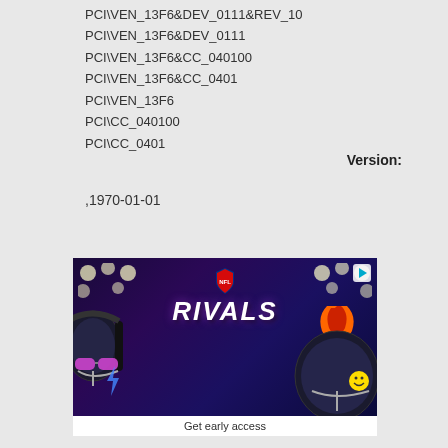PCI\VEN_13F6&DEV_0111&REV_10
PCI\VEN_13F6&DEV_0111
PCI\VEN_13F6&CC_040100
PCI\VEN_13F6&CC_0401
PCI\VEN_13F6
PCI\CC_040100
PCI\CC_0401
Version:
,1970-01-01
[Figure (photo): NFL Rivals game advertisement showing two football helmets facing each other, one with headphones and sunglasses, the other with a mohawk and smiley face, with 'RIVALS' text in the center and NFL logo above, set against a dark purple/blue stadium background with lights.]
Get early access